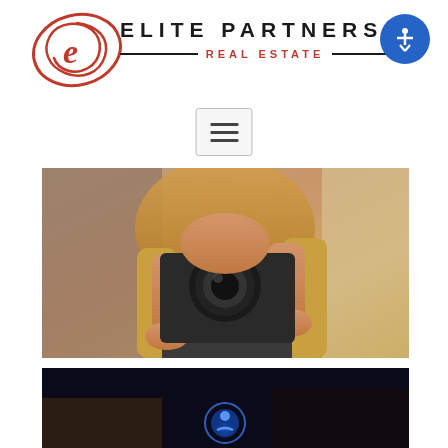[Figure (logo): Elite Partners Real Estate logo with red spiral/swirl graphic on left and brand name text on right]
[Figure (other): Menu hamburger icon button with three horizontal lines inside a bordered box]
[Figure (photo): Woman with long blonde hair holding a camera up to her face, photographing, warm sunlit background]
[Figure (photo): Dark night scene with a blue glowing circular icon/light in the center, partially visible at bottom]